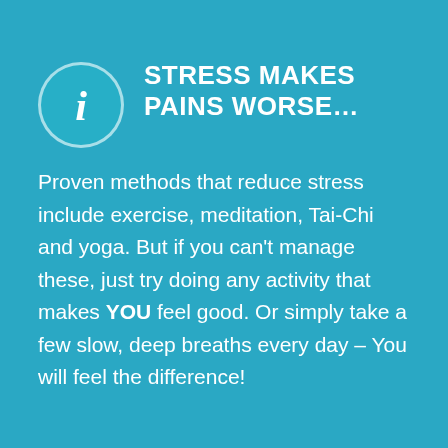STRESS MAKES PAINS WORSE…
Proven methods that reduce stress include exercise, meditation, Tai-Chi and yoga. But if you can't manage these, just try doing any activity that makes YOU feel good. Or simply take a few slow, deep breaths every day – You will feel the difference!